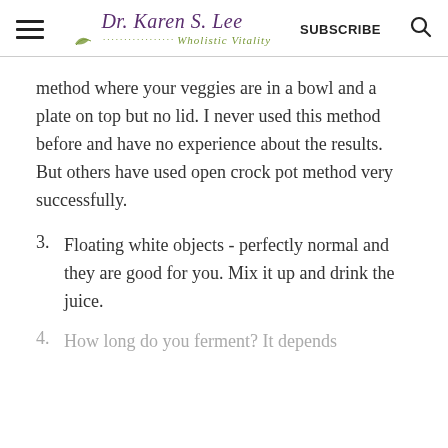Dr. Karen S. Lee — Wholistic Vitality — SUBSCRIBE
method where your veggies are in a bowl and a plate on top but no lid. I never used this method before and have no experience about the results. But others have used open crock pot method very successfully.
3. Floating white objects - perfectly normal and they are good for you. Mix it up and drink the juice.
4. How long do you ferment? It depends